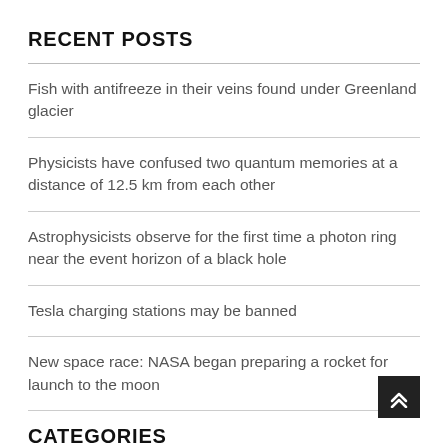RECENT POSTS
Fish with antifreeze in their veins found under Greenland glacier
Physicists have confused two quantum memories at a distance of 12.5 km from each other
Astrophysicists observe for the first time a photon ring near the event horizon of a black hole
Tesla charging stations may be banned
New space race: NASA began preparing a rocket for launch to the moon
CATEGORIES